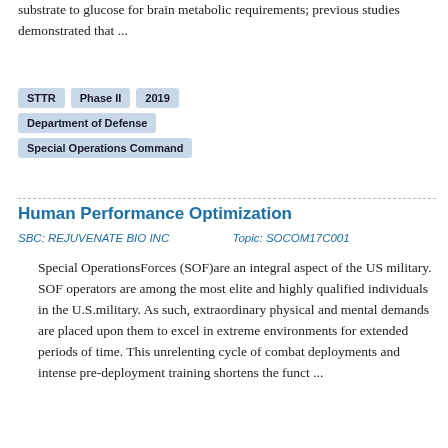substrate to glucose for brain metabolic requirements; previous studies demonstrated that ...
STTR
Phase II
2019
Department of Defense
Special Operations Command
Human Performance Optimization
SBC: REJUVENATE BIO INC        Topic: SOCOM17C001
Special OperationsForces (SOF)are an integral aspect of the US military. SOF operators are among the most elite and highly qualified individuals in the U.S.military. As such, extraordinary physical and mental demands are placed upon them to excel in extreme environments for extended periods of time. This unrelenting cycle of combat deployments and intense pre-deployment training shortens the funct ...